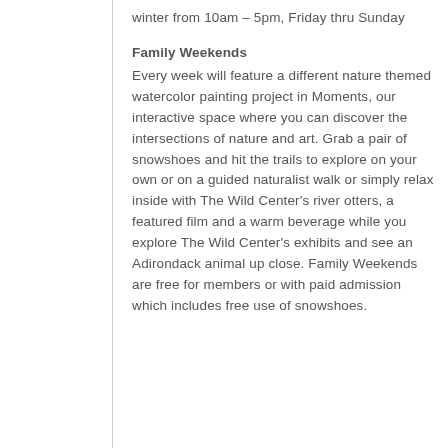winter from 10am – 5pm, Friday thru Sunday
Family Weekends
Every week will feature a different nature themed watercolor painting project in Moments, our interactive space where you can discover the intersections of nature and art. Grab a pair of snowshoes and hit the trails to explore on your own or on a guided naturalist walk or simply relax inside with The Wild Center's river otters, a featured film and a warm beverage while you explore The Wild Center's exhibits and see an Adirondack animal up close. Family Weekends are free for members or with paid admission which includes free use of snowshoes.